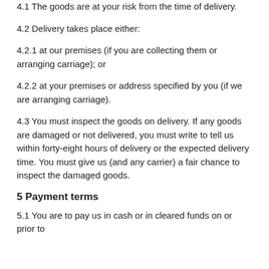4.1 The goods are at your risk from the time of delivery.
4.2 Delivery takes place either:
4.2.1 at our premises (if you are collecting them or arranging carriage); or
4.2.2 at your premises or address specified by you (if we are arranging carriage).
4.3 You must inspect the goods on delivery. If any goods are damaged or not delivered, you must write to tell us within forty-eight hours of delivery or the expected delivery time. You must give us (and any carrier) a fair chance to inspect the damaged goods.
5 Payment terms
5.1 You are to pay us in cash or in cleared funds on or prior to